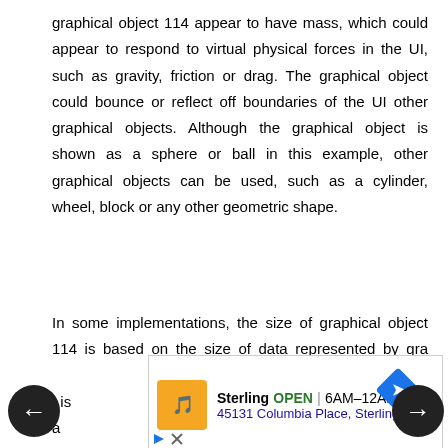graphical object 114 appear to have mass, which could appear to respond to virtual physical forces in the UI, such as gravity, friction or drag. The graphical object could bounce or reflect off boundaries of the UI other graphical objects. Although the graphical object is shown as a sphere or ball in this example, other graphical objects can be used, such as a cylinder, wheel, block or any other geometric shape.
In some implementations, the size of graphical object 114 is based on the size of data represented by gra... t is a ... wi... det... t is